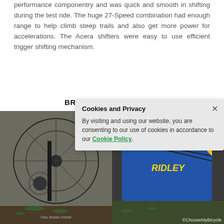performance componentry and was quick and smooth in shifting during the test ride. The huge 27-Speed combination had enough range to help climb steep trails and also get more power for accelerations. The Acera shifters were easy to use efficient trigger shifting mechanism.
BRAKES AND STEERING
[Figure (photo): Close-up photo of a mountain bike front wheel disc brake and fork, with dirt and small plants visible on the ground beneath it.]
[Figure (other): Cookie and Privacy notice overlay: 'Cookies and Privacy' heading with close button, text about consenting to use of cookies, and a green 'Cookie Policy' link.]
[Figure (photo): Photo of a blue and yellow Ridley mountain bike handlebars and front section, with a white foam grip visible.]
©ChooseMyBicycle